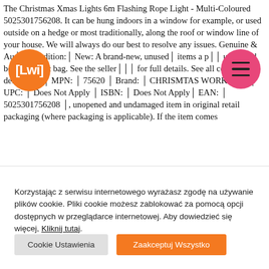The Christmas Xmas Lights 6m Flashing Rope Light - Multi-Coloured 5025301756208. It can be hung indoors in a window for example, or used outside on a hedge or most traditionally, along the roof or window line of your house. We will always do our best to resolve any issues. Genuine & Au... Condition:■ New: A brand-new, unused, items a p■... unprinted box or plastic bag. See the seller's listing for full details. See all condition definitions ■ MPN: ■ 75620 ■ Brand: ■ CHRISMTAS WORKSHOP■ UPC: ■ Does Not Apply ■ ISBN: ■ Does Not Apply■ EAN: ■ 5025301756208 ■, unopened and undamaged item in original retail packaging (where packaging is applicable). If the item comes
[Figure (logo): Orange circle logo with white text [Lwi]]
[Figure (other): Pink/red circle with hamburger menu icon (three horizontal lines)]
Korzystając z serwisu internetowego wyrażasz zgodę na używanie plików cookie. Pliki cookie możesz zablokować za pomocą opcji dostępnych w przeglądarce internetowej. Aby dowiedzieć się więcej, Kliknij tutaj.
Cookie Ustawienia
Zaakceptuj Wszystko